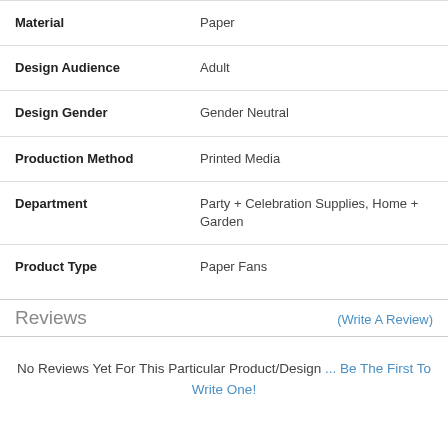| Attribute | Value |
| --- | --- |
| Material | Paper |
| Design Audience | Adult |
| Design Gender | Gender Neutral |
| Production Method | Printed Media |
| Department | Party + Celebration Supplies, Home + Garden |
| Product Type | Paper Fans |
Reviews
(Write A Review)
No Reviews Yet For This Particular Product/Design ... Be The First To Write One!